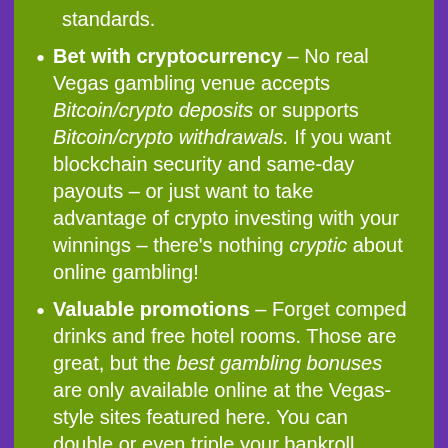encryption and data security standards.
Bet with cryptocurrency – No real Vegas gambling venue accepts Bitcoin/crypto deposits or supports Bitcoin/crypto withdrawals. If you want blockchain security and same-day payouts – or just want to take advantage of crypto investing with your winnings – there's nothing cryptic about online gambling!
Valuable promotions – Forget comped drinks and free hotel rooms. Those are great, but the best gambling bonuses are only available online at the Vegas-style sites featured here. You can double or even triple your bankroll before you ever place your first bet,